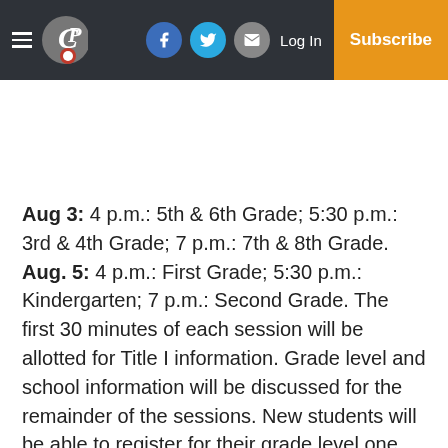CP | Log In | Subscribe
Aug 3: 4 p.m.: 5th & 6th Grade; 5:30 p.m.: 3rd & 4th Grade; 7 p.m.: 7th & 8th Grade. Aug. 5: 4 p.m.: First Grade; 5:30 p.m.: Kindergarten; 7 p.m.: Second Grade. The first 30 minutes of each session will be allotted for Title I information. Grade level and school information will be discussed for the remainder of the sessions. New students will be able to register for their grade level one hour prior to their meeting.